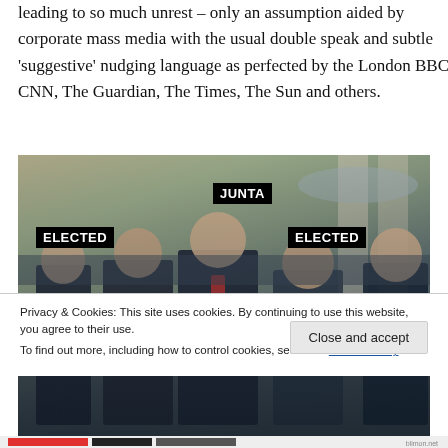leading to so much unrest – only an assumption aided by corporate mass media with the usual double speak and subtle ‘suggestive’ nudging language as perfected by the London BBC, CNN, The Guardian, The Times, The Sun and others.
[Figure (photo): Photo of group of leaders walking together in a formal hall. Labels overlaid on image: 'JUNTA' (center top, in black box), 'ELECTED' (left, on figure at left), 'ELECTED' (right, on figure at right), 'ELECTED' (lower center, on another figure).]
Privacy & Cookies: This site uses cookies. By continuing to use this website, you agree to their use.
To find out more, including how to control cookies, see here: Cookie Policy
Close and accept